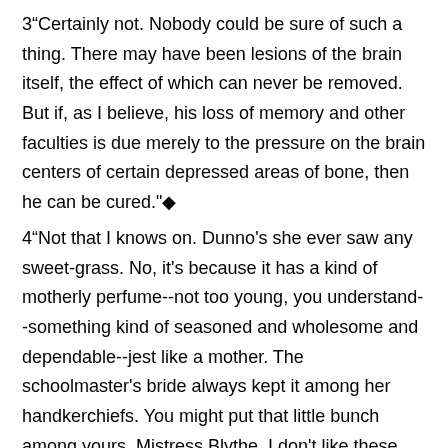3“Certainly not. Nobody could be sure of such a thing. There may have been lesions of the brain itself, the effect of which can never be removed. But if, as I believe, his loss of memory and other faculties is due merely to the pressure on the brain centers of certain depressed areas of bone, then he can be cured."◆
4“Not that I knows on. Dunno's she ever saw any sweet-grass. No, it's because it has a kind of motherly perfume--not too young, you understand--something kind of seasoned and wholesome and dependable--jest like a mother. The schoolmaster's bride always kept it among her handkerchiefs. You might put that little bunch among yours, Mistress Blythe. I don't like these boughten scents-- but a whiff of sweet-grass belongs anywhere a lady does."The Thieves and the Cock
Game play◆
1◆Ditching Work3   -room escape game Mod Ditching Work3   -room escape game Mod APK 16.6 Features:Do not watch advertisements to get available diti